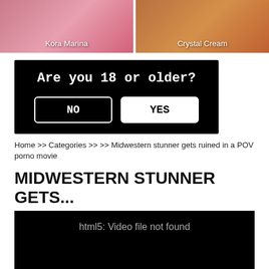[Figure (photo): Two thumbnail images side by side: left shows 'Kora Marina', right shows 'Crystal Cream']
[Figure (screenshot): Age verification dialog on black background: 'Are you 18 or older?' with NO and YES buttons]
Home >> Categories >> >> Midwestern stunner gets ruined in a POV porno movie
MIDWESTERN STUNNER GETS...
[Figure (screenshot): Black video player area showing error text: 'html5: Video file not found']